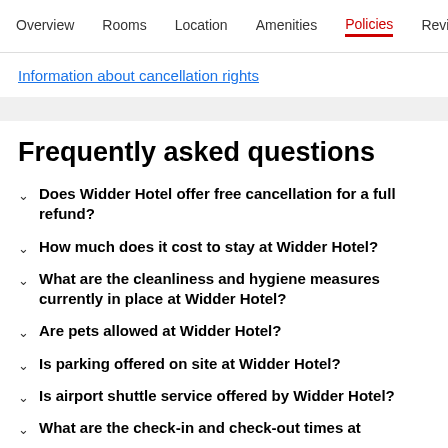Overview  Rooms  Location  Amenities  Policies  Reviews
Information about cancellation rights
Frequently asked questions
Does Widder Hotel offer free cancellation for a full refund?
How much does it cost to stay at Widder Hotel?
What are the cleanliness and hygiene measures currently in place at Widder Hotel?
Are pets allowed at Widder Hotel?
Is parking offered on site at Widder Hotel?
Is airport shuttle service offered by Widder Hotel?
What are the check-in and check-out times at